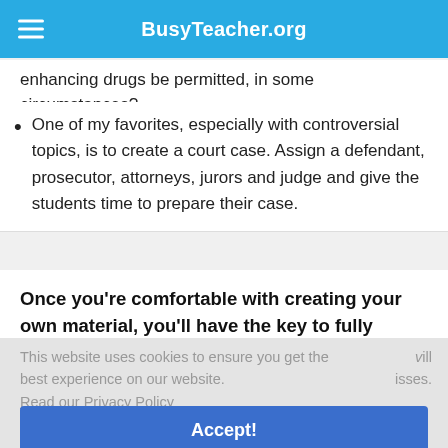BusyTeacher.org
enhancing drugs be permitted, in some circumstances?
One of my favorites, especially with controversial topics, is to create a court case. Assign a defendant, prosecutor, attorneys, jurors and judge and give the students time to prepare their case.
Once you're comfortable with creating your own material, you'll have the key to fully exploiting
This website uses cookies to ensure you get the best experience on our website.
will isses.
Read our Privacy Policy
Accept!